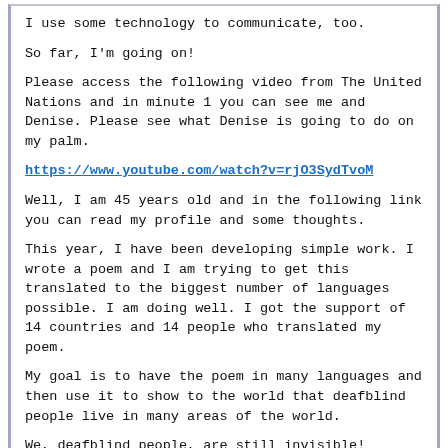I use some technology to communicate, too.
So far, I'm going on!
Please access the following video from The United Nations and in minute 1 you can see me and Denise. Please see what Denise is going to do on my palm.
https://www.youtube.com/watch?v=rjO3SydTvoM
Well, I am 45 years old and in the following link you can read my profile and some thoughts.
This year, I have been developing simple work. I wrote a poem and I am trying to get this translated to the biggest number of languages possible. I am doing well. I got the support of 14 countries and 14 people who translated my poem.
My goal is to have the poem in many languages and then use it to show to the world that deafblind people live in many areas of the world.
We, deafblind people, are still invisible!
Best regards and we'll keep in touch!
Alex Garcia -- Profile clik here!